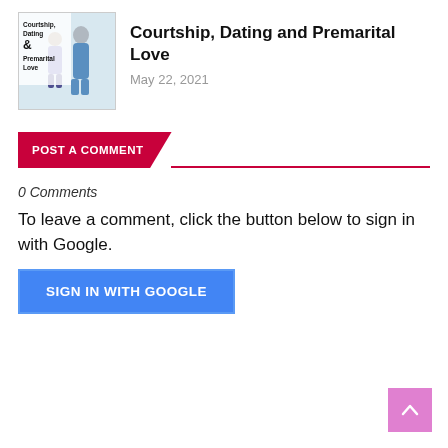[Figure (illustration): Thumbnail image for article 'Courtship, Dating and Premarital Love' showing two people and text overlay]
Courtship, Dating and Premarital Love
May 22, 2021
POST A COMMENT
0 Comments
To leave a comment, click the button below to sign in with Google.
SIGN IN WITH GOOGLE